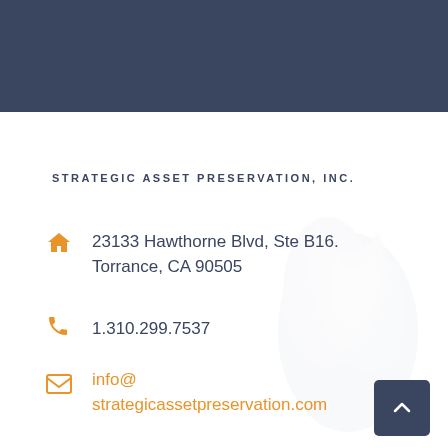[Figure (other): Dark navy blue header banner at top of page]
STRATEGIC ASSET PRESERVATION, INC.
23133 Hawthorne Blvd, Ste B16. Torrance, CA 90505
1.310.299.7537
info@ strategicassetpreservation.com